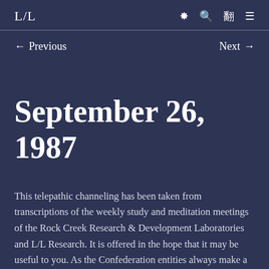L/L
← Previous    Next →
September 26, 1987
This telepathic channeling has been taken from transcriptions of the weekly study and meditation meetings of the Rock Creek Research & Development Laboratories and L/L Research. It is offered in the hope that it may be useful to you. As the Confederation entities always make a point of saying, please use your discrimination and judgment in assessing this material. If something rings true to you, fine. If something does